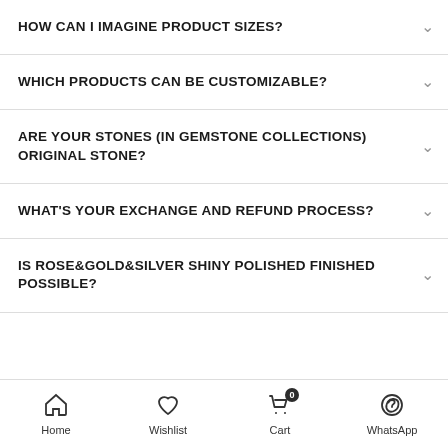HOW CAN I IMAGINE PRODUCT SIZES?
WHICH PRODUCTS CAN BE CUSTOMIZABLE?
ARE YOUR STONES (IN GEMSTONE COLLECTIONS) ORIGINAL STONE?
WHAT'S YOUR EXCHANGE AND REFUND PROCESS?
IS ROSE&GOLD&SILVER SHINY POLISHED FINISHED POSSIBLE?
Home  Wishlist  Cart 0  WhatsApp